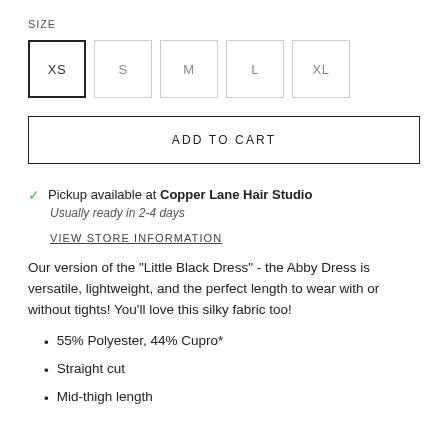SIZE
XS  S  M  L  XL
ADD TO CART
Pickup available at Copper Lane Hair Studio
Usually ready in 2-4 days
VIEW STORE INFORMATION
Our version of the "Little Black Dress" - the Abby Dress is versatile, lightweight, and the perfect length to wear with or without tights! You'll love this silky fabric too!
55% Polyester, 44% Cupro*
Straight cut
Mid-thigh length